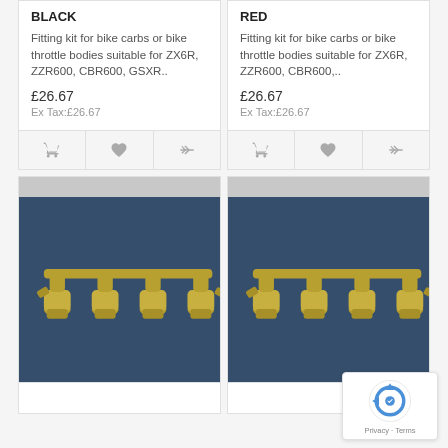BLACK
Fitting kit for bike carbs or bike throttle bodies suitable for ZX6R, ZZR600, CBR600, GSXR..
£26.67
Ex Tax:£26.67
RED
Fitting kit for bike carbs or bike throttle bodies suitable for ZX6R, ZZR600, CBR600,..
£26.67
Ex Tax:£26.67
[Figure (photo): Brass motorcycle carburetor fitting kit components on dark blue background - left product card]
[Figure (photo): Brass motorcycle carburetor fitting kit components on dark blue background - right product card]